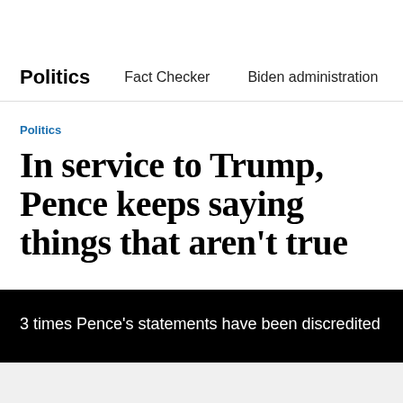Politics   Fact Checker   Biden administration   The
Politics
In service to Trump, Pence keeps saying things that aren't true
3 times Pence's statements have been discredited